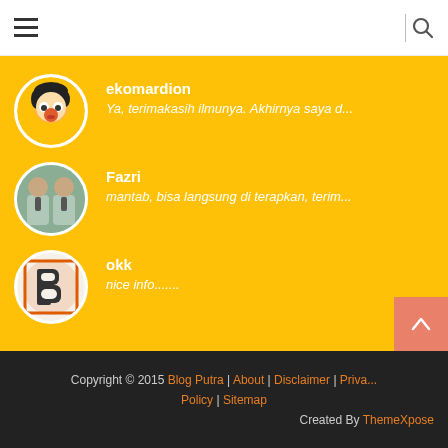≡  |  🔍
ekomardion
Ya, terimakasih ilmunya. Akhirnya saya d...
Fazri
mantab, bisa langsung di terapkan, terim...
okk
nice info........
Copyright © 2015 Blog Putra | About | Disclaimer | Privacy Policy | Sitemap
Created By ThemeXpose